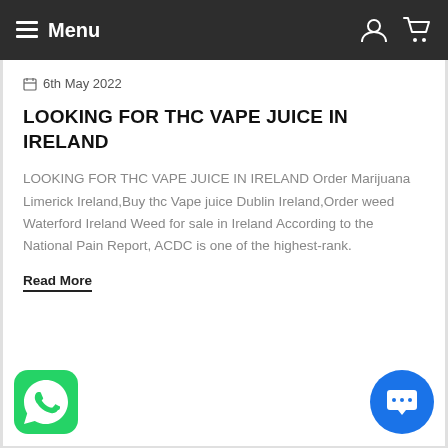Menu
6th May 2022
LOOKING FOR THC VAPE JUICE IN IRELAND
LOOKING FOR THC VAPE JUICE IN IRELAND Order Marijuana Limerick Ireland,Buy thc Vape juice Dublin Ireland,Order weed Waterford Ireland Weed for sale in Ireland According to the National Pain Report, ACDC is one of the highest-rank.
Read More